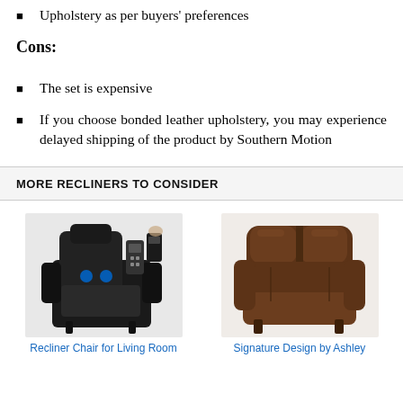Upholstery as per buyers' preferences
Cons:
The set is expensive
If you choose bonded leather upholstery, you may experience delayed shipping of the product by Southern Motion
MORE RECLINERS TO CONSIDER
[Figure (photo): Black leather recliner chair with massage feature and remote control]
[Figure (photo): Brown leather recliner chair by Signature Design by Ashley]
Recliner Chair for Living Room
Signature Design by Ashley